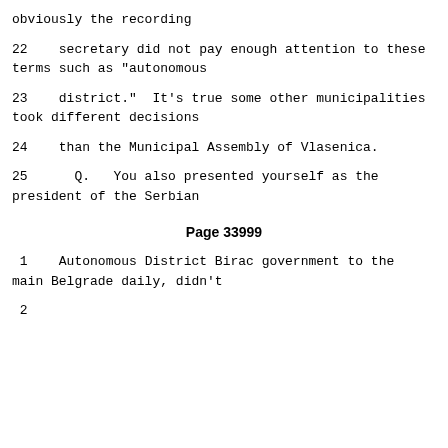obviously the recording
22    secretary did not pay enough attention to these terms such as "autonomous
23    district."  It's true some other municipalities took different decisions
24    than the Municipal Assembly of Vlasenica.
25      Q.   You also presented yourself as the president of the Serbian
Page 33999
1     Autonomous District Birac government to the main Belgrade daily, didn't
2